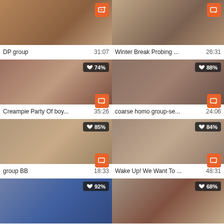[Figure (photo): Video thumbnail top-left with orange add badge]
DP group
31:07
[Figure (photo): Video thumbnail top-right with orange add badge]
Winter Break Probing ...
26:31
[Figure (photo): Video thumbnail row2-left with 74% like badge and add badge]
Creampie Party Of boy...
35:26
[Figure (photo): Video thumbnail row2-right with 88% like badge and add badge]
coarse homo group-se...
24:06
[Figure (photo): Video thumbnail row3-left with 85% like badge and add badge]
group BB
18:33
[Figure (photo): Video thumbnail row3-right with 84% like badge and add badge]
Wake Up! We Want To ...
48:31
[Figure (photo): Video thumbnail row4-left with 92% like badge]
[Figure (photo): Video thumbnail row4-right with 68% like badge]